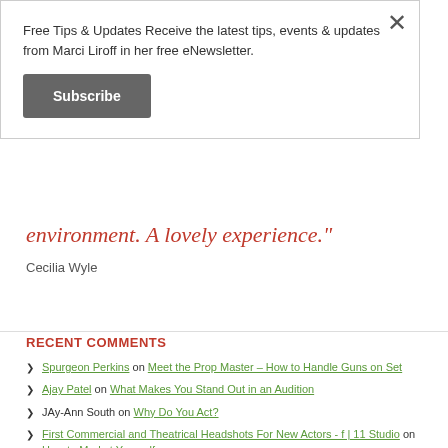Free Tips & Updates Receive the latest tips, events & updates from Marci Liroff in her free eNewsletter.
Subscribe
environment. A lovely experience."
Cecilia Wyle
RECENT COMMENTS
Spurgeon Perkins on Meet the Prop Master – How to Handle Guns on Set
Ajay Patel on What Makes You Stand Out in an Audition
JAy-Ann South on Why Do You Act?
First Commercial and Theatrical Headshots For New Actors - f | 11 Studio on How to Market Yourself
C. W. Johnson, Jr. on Is Your Acting Teacher Making You Sick?